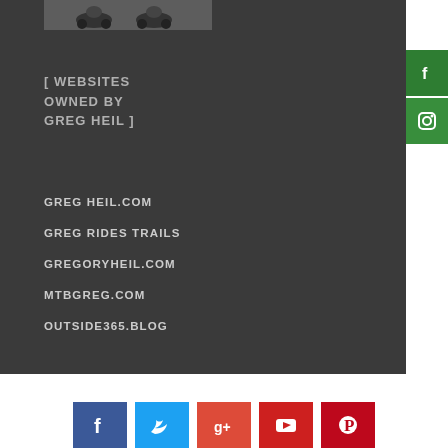[Figure (photo): Black and white photograph of motorcycle riders/racers at top of panel]
[ WEBSITES OWNED BY GREG HEIL ]
GREG HEIL.COM
GREG RIDES TRAILS
GREGORYHEIL.COM
MTBGREG.COM
OUTSIDE365.BLOG
[Figure (infographic): Row of social media icon buttons: Facebook (blue), Twitter (light blue), Google+ (red), YouTube (red), Pinterest (dark red)]